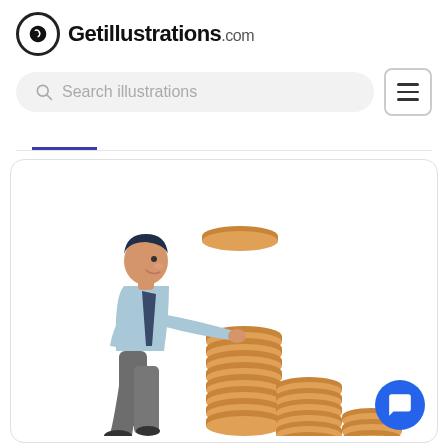[Figure (logo): Getillustrations.com logo with circular icon and text]
[Figure (screenshot): Search bar with placeholder 'Search illustrations' and hamburger menu button]
[Figure (illustration): A man placing a coin onto stacked coin piles of descending height, suggesting investment or savings growth]